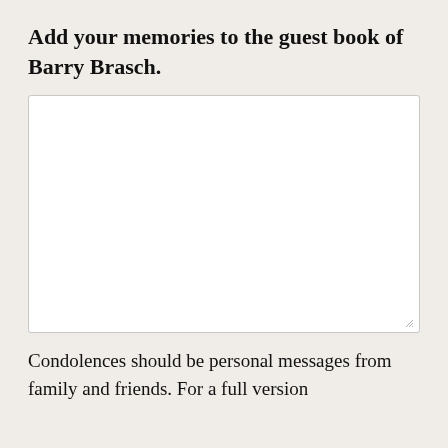Add your memories to the guest book of Barry Brasch.
[Figure (other): Empty text input area (textarea) with a white background and light border, with a resize handle in the bottom-right corner.]
Condolences should be personal messages from family and friends. For a full version